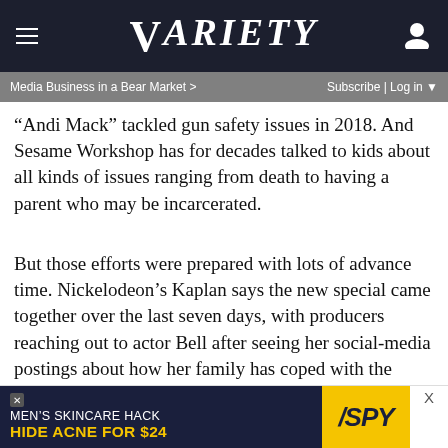VARIETY
Media Business in a Bear Market >    Subscribe | Log in
“Andi Mack” tackled gun safety issues in 2018. And Sesame Workshop has for decades talked to kids about all kinds of issues ranging from death to having a parent who may be incarcerated.
But those efforts were prepared with lots of advance time. Nickelodeon’s Kaplan says the new special came together over the last seven days, with producers reaching out to actor Bell after seeing her social-media postings about how her family has coped with the pandemic. “She has been living thorough this. Her husband was quarantined and for a time was away from the family,” explains Kaplan. “She has handled this with humor and empathy and really just talks directly and specifically to kids.”
[Figure (other): Advertisement banner: MEN'S SKINCARE HACK / HIDE ACNE FOR $24 with SPY logo on yellow background]